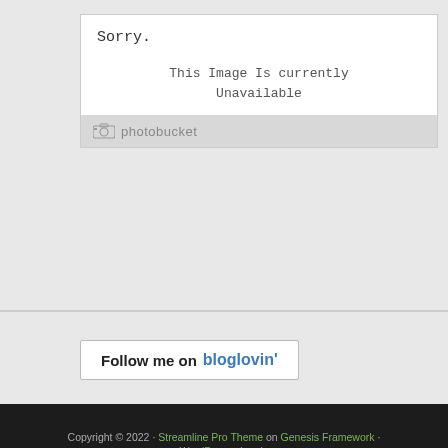[Figure (screenshot): Photobucket image unavailable placeholder showing 'Sorry. This Image Is Currently Unavailable' with photobucket logo at bottom]
[Figure (screenshot): Follow me on bloglovin' button with blue bloglovin text]
Copyright © 2022 · Streamline Pro Theme on Genesis Framework · WordPress · Log in
More than one instance of Sumo is attempting to start on this page. Please check that you are only loading Sumo once per page.